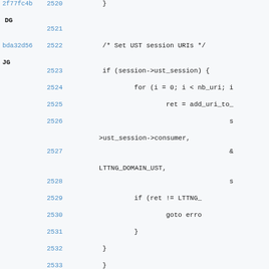Source code viewer showing lines 2520-2534 with git blame annotations. Lines include C code for setting UST session URIs using add_uri_to function with session->ust_session->consumer, LTTNG_DOMAIN_UST, and error handling via goto erro.